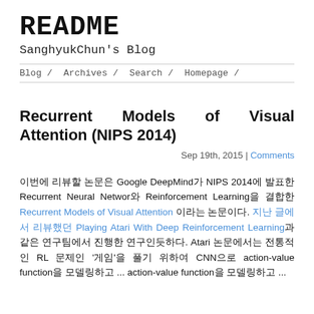README
SanghyukChun's Blog
Blog /   Archives /   Search /   Homepage /
Recurrent Models of Visual Attention (NIPS 2014)
Sep 19th, 2015 | Comments
이번에 리뷰할 논문은 Google DeepMind가 NIPS 2014에 발표한 Recurrent Neural Networ와 Reinforcement Learning을 결합한 Recurrent Models of Visual Attention 이라는 논문이다. 지난 글에서 리뷰했던 Playing Atari With Deep Reinforcement Learning과 같은 연구팀에서 진행한 연구인듯하다. Atari 논문에서는 전통적인 RL 문제인 '게임'을 풀기 위하여 CNN으로 action-value function을 모델링하고 ...